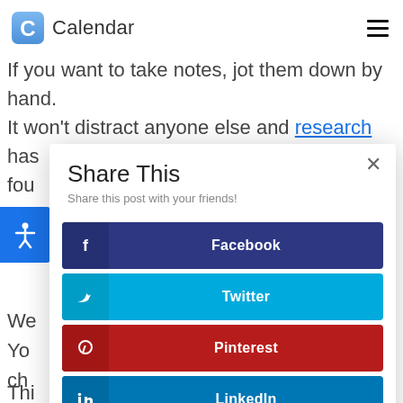Calendar
If you want to take notes, jot them down by hand. It won't distract anyone else and research has fou... wr...
[Figure (screenshot): Share This modal dialog with social share buttons for Facebook, Twitter, Pinterest, and LinkedIn]
n.
We... Yo... ch...
Thi... e'll as... h.